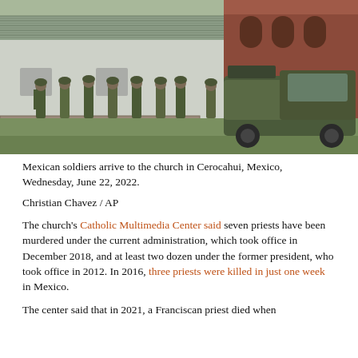[Figure (photo): Mexican soldiers standing outside a church building in Cerocahui, Mexico. Several soldiers in camouflage uniforms are gathered on grass near a white building with a corrugated metal roof, and a military pickup truck is parked in the background next to a brick building. Trees and hills visible in background.]
Mexican soldiers arrive to the church in Cerocahui, Mexico, Wednesday, June 22, 2022.
Christian Chavez / AP
The church's Catholic Multimedia Center said seven priests have been murdered under the current administration, which took office in December 2018, and at least two dozen under the former president, who took office in 2012. In 2016, three priests were killed in just one week in Mexico.
The center said that in 2021, a Franciscan priest died when